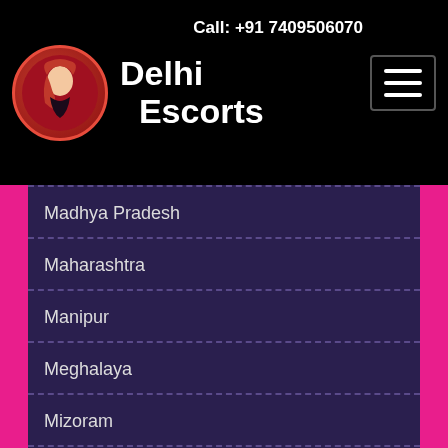Delhi Escorts  Call: +91 7409506070
Madhya Pradesh
Maharashtra
Manipur
Meghalaya
Mizoram
Nagaland
Odisha
Punjab
Rajasthan
Sikkim
Tamil Nadu